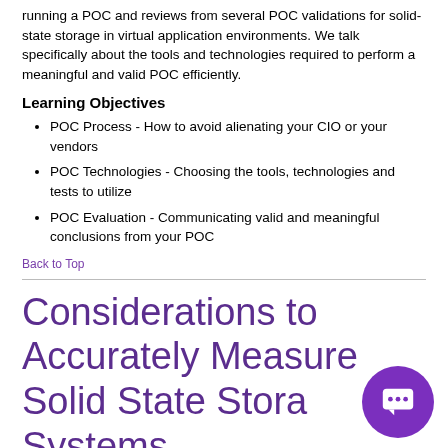This section will review our recommendations after recently running a POC and reviews from several POC validations for solid-state storage in virtual application environments. We talk specifically about the tools and technologies required to perform a meaningful and valid POC efficiently.
Learning Objectives
POC Process - How to avoid alienating your CIO or your vendors
POC Technologies - Choosing the tools, technologies and tests to utilize
POC Evaluation - Communicating valid and meaningful conclusions from your POC
Back to Top
Considerations to Accurately Measure Solid State Storage Systems